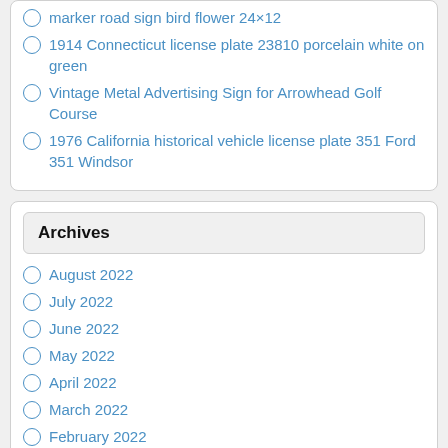marker road sign bird flower 24×12
1914 Connecticut license plate 23810 porcelain white on green
Vintage Metal Advertising Sign for Arrowhead Golf Course
1976 California historical vehicle license plate 351 Ford 351 Windsor
Archives
August 2022
July 2022
June 2022
May 2022
April 2022
March 2022
February 2022
January 2022
December 2021